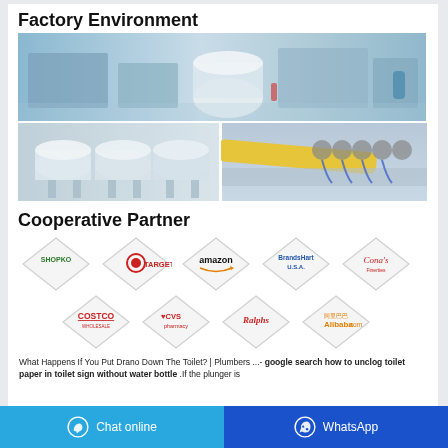Factory Environment
[Figure (photo): Factory environment: three industrial photos showing manufacturing machinery, large paper rolls, and equipment control panel]
Cooperative Partner
[Figure (infographic): Cooperative partner logos in diamond shapes: Shopko, Target, Amazon, BrandsMart USA, Cona's, Costco, CVS pharmacy, Ralphs, Alibaba]
What Happens If You Put Drano Down The Toilet? | Plumbers ...- google search how to unclog toilet paper in toilet sign without water bottle .If the plunger is
Chat online   WhatsApp